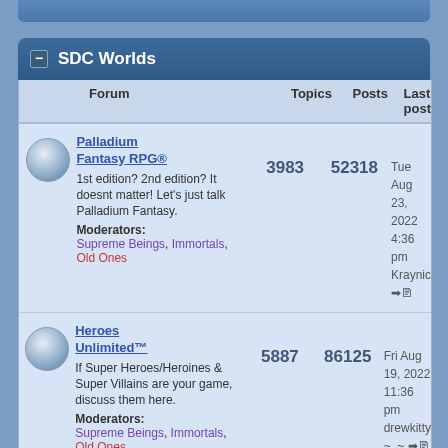SDC Worlds
| Forum | Topics | Posts | Last post |
| --- | --- | --- | --- |
| Palladium Fantasy RPG® — 1st edition? 2nd edition? It doesnt matter! Let's just talk Palladium Fantasy. Moderators: Supreme Beings, Immortals, Old Ones | 3983 | 52318 | Tue Aug 23, 2022 4:36 pm Kraynic |
| Heroes Unlimited™ — If Super Heroes/Heroines & Super Villains are your game, discuss them here. Moderators: Supreme Beings, Immortals, Old Ones | 5887 | 86125 | Fri Aug 19, 2022 11:36 pm drewkitty ~..~ |
| Dead Reign™ — You are on your... |  |  |  |